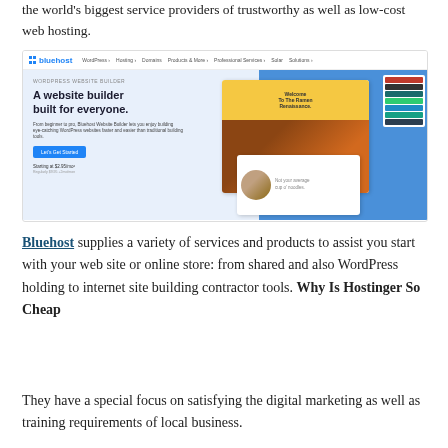the world's biggest service providers of trustworthy as well as low-cost web hosting.
[Figure (screenshot): Screenshot of Bluehost website showing the WordPress Website Builder page with headline 'A website builder built for everyone.' and food/restaurant imagery on the right side.]
Bluehost supplies a variety of services and products to assist you start with your web site or online store: from shared and also WordPress holding to internet site building contractor tools. Why Is Hostinger So Cheap
They have a special focus on satisfying the digital marketing as well as training requirements of local business.